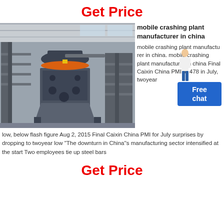Get Price
[Figure (photo): Industrial mobile crushing plant / vertical shaft impact crusher machine, large dark grey metal equipment in a factory/warehouse setting]
mobile crashing plant manufacturer in china
mobile crashing plant manufacturer in china. mobile crashing plant manufacturer in china Final Caixin China PMI at 478 in July, twoyear low, below flash figure Aug 2, 2015 Final Caixin China PMI for July surprises by dropping to twoyear low "The downturn in China''s manufacturing sector intensified at the start Two employees tie up steel bars
Get Price